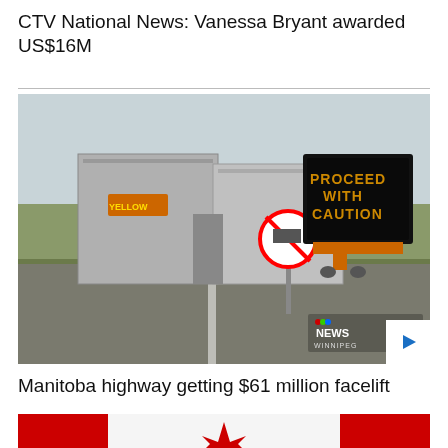CTV National News: Vanessa Bryant awarded US$16M
[Figure (photo): Two transport trucks on a highway next to a portable electronic sign reading 'PROCEED WITH CAUTION' and a no-stopping road sign. CTV News Winnipeg watermark visible.]
Manitoba highway getting $61 million facelift
[Figure (photo): Close-up of a Canadian flag, red and white maple leaf visible.]